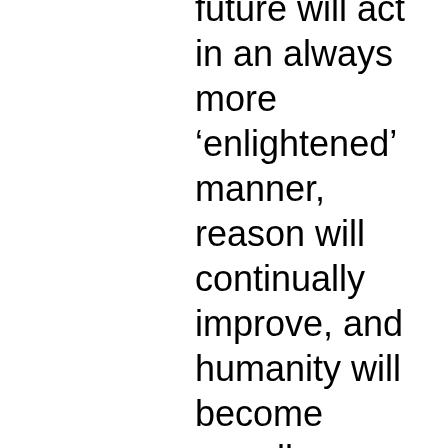future will act in an always more 'enlightened' manner, reason will continually improve, and humanity will become morally better." This is an important and extremely flawed assumption — that reason will lead to